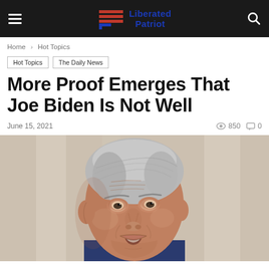Liberated Patriot
Home > Hot Topics
Hot Topics
The Daily News
More Proof Emerges That Joe Biden Is Not Well
June 15, 2021   850   0
[Figure (photo): Close-up photo of Joe Biden, an elderly man with gray hair, looking slightly downward with his mouth slightly open, wearing a suit with a white collar visible at the bottom.]